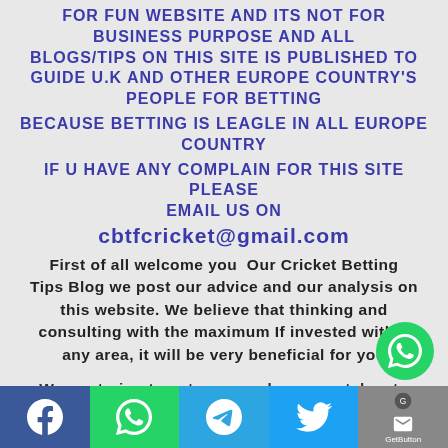FOR FUN WEBSITE AND ITS NOT FOR BUSINESS PURPOSE AND ALL BLOGS/TIPS ON THIS SITE IS PUBLISHED TO GUIDE U.K AND OTHER EUROPE COUNTRY'S PEOPLE FOR BETTING BECAUSE BETTING IS LEAGLE IN ALL EUROPE COUNTRY IF U HAVE ANY COMPLAIN FOR THIS SITE PLEASE EMAIL US ON cbtfcricket@gmail.com
First of all welcome you  Our Cricket Betting Tips Blog we post our advice and our analysis on this website. We believe that thinking and consulting with the maximum If invested within any area, it will be very beneficial for you
We are trying to get more and more matches to you through this website. In the game pl...
[Figure (infographic): Social media sharing bar at the bottom with Facebook, WhatsApp, Telegram, Twitter, and GetButton icons. A floating WhatsApp button in the lower right.]